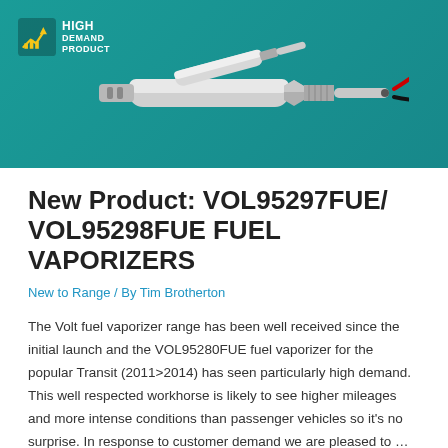[Figure (photo): Product photo of fuel vaporizers on teal background with High Demand Product logo badge]
New Product: VOL95297FUE/ VOL95298FUE FUEL VAPORIZERS
New to Range / By Tim Brotherton
The Volt fuel vaporizer range has been well received since the initial launch and the VOL95280FUE fuel vaporizer for the popular Transit (2011>2014) has seen particularly high demand. This well respected workhorse is likely to see higher mileages and more intense conditions than passenger vehicles so it's no surprise. In response to customer demand we are pleased to …
Read More »
[Figure (photo): Two images at the bottom of the page, partially visible]